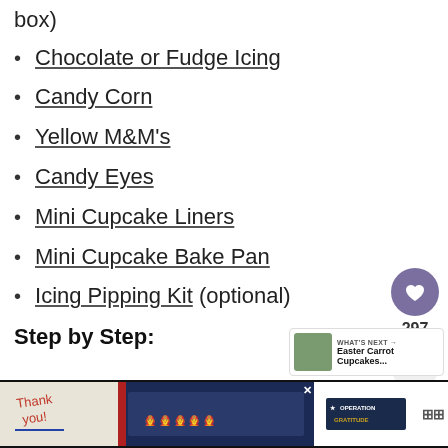box)
Chocolate or Fudge Icing
Candy Corn
Yellow M&M's
Candy Eyes
Mini Cupcake Liners
Mini Cupcake Bake Pan
Icing Pipping Kit (optional)
Step by Step:
[Figure (screenshot): Advertisement banner at bottom with 'Thank you' text, firefighters photo, Operation Gratitude logo, and WW logo]